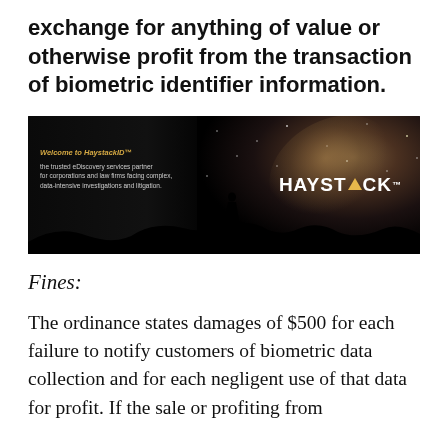exchange for anything of value or otherwise profit from the transaction of biometric identifier information.
[Figure (illustration): Haystack ID advertisement showing a night sky with Milky Way on right side and silhouetted person on hills, with company text on dark left panel reading 'Welcome to HaystackID - the trusted eDiscovery services partner for corporations and law firms facing complex, data-intensive investigations and litigation.' HAYSTACK logo with yellow triangle in center of image.]
Fines:
The ordinance states damages of $500 for each failure to notify customers of biometric data collection and for each negligent use of that data for profit. If the sale or profiting from